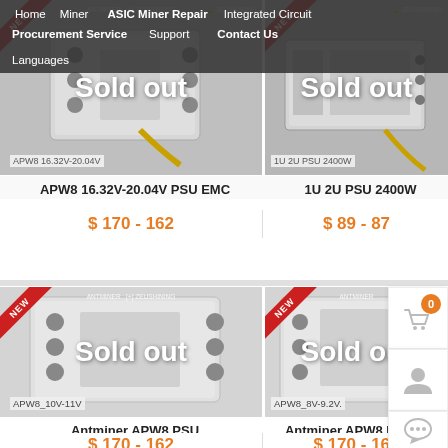Home | Miner | ASIC Miner Repair | Integrated Circuit | Procurement Service | Support | Contact Us | Languages
[Figure (screenshot): APW8 16.32V-20.04V PSU EMC product image with NEW ribbon and Sold out overlay]
APW8 16.32V-20.04V PSU EMC
$ 170 - 162
[Figure (screenshot): 1U 2U PSU 2400W product image with NEW ribbon and Sold out overlay]
1U 2U PSU 2400W
$ 89 - 87
[Figure (screenshot): Antminer APW8 PSU product image (APW8_10V-11V) with NEW ribbon and Sold out overlay]
Antminer APW8 PSU
$ 170 - 162
[Figure (screenshot): Antminer APW8 EMC PSU product image (APW8_8V-9.2V) with NEW ribbon and Sold out overlay]
Antminer APW8 EMC PS
$ 170 - 162